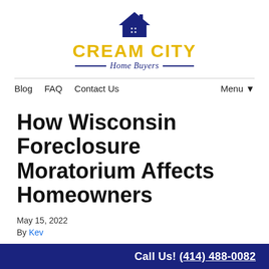[Figure (logo): Cream City Home Buyers logo with house icon, yellow bold text 'CREAM CITY', and navy italic 'Home Buyers' with decorative lines]
Blog   FAQ   Contact Us                                      Menu ▼
How Wisconsin Foreclosure Moratorium Affects Homeowners
May 15, 2022
By Kev
Call Us! (414) 488-0082